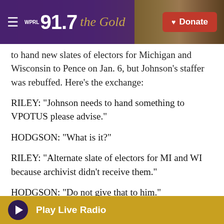WPRL 91.7 the Gold — Donate
to hand new slates of electors for Michigan and Wisconsin to Pence on Jan. 6, but Johnson's staffer was rebuffed. Here's the exchange:
RILEY: "Johnson needs to hand something to VPOTUS please advise."
HODGSON: "What is it?"
RILEY: "Alternate slate of electors for MI and WI because archivist didn't receive them."
HODGSON: "Do not give that to him."
For its part, Johnson's office is now trying to
Play Live Radio